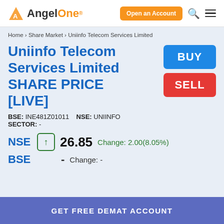AngelOne - Open an Account
Home › Share Market › Uniinfo Telecom Services Limited
Uniinfo Telecom Services Limited SHARE PRICE [LIVE]
BSE: INE481Z01011   NSE: UNIINFO   SECTOR: -
NSE ↑ 26.85 Change: 2.00(8.05%)
BSE - Change: -
GET FREE DEMAT ACCOUNT